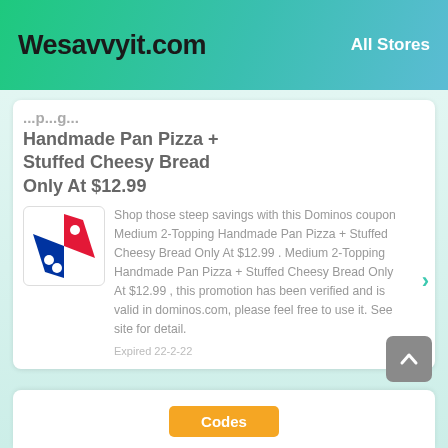Wesavvyit.com | All Stores
Handmade Pan Pizza + Stuffed Cheesy Bread Only At $12.99
[Figure (logo): Domino's Pizza logo - red and blue diamond shape with dots]
Shop those steep savings with this Dominos coupon Medium 2-Topping Handmade Pan Pizza + Stuffed Cheesy Bread Only At $12.99 . Medium 2-Topping Handmade Pan Pizza + Stuffed Cheesy Bread Only At $12.99 , this promotion has been verified and is valid in dominos.com, please feel free to use it. See site for detail.
Expired 22-2-22
Codes